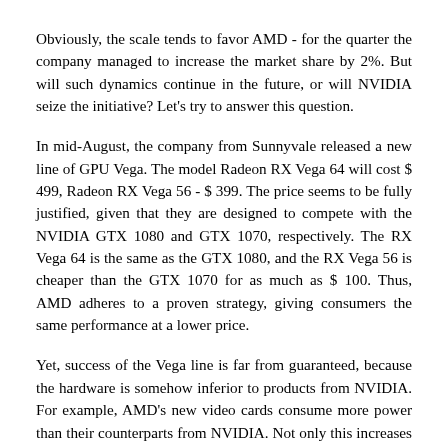Obviously, the scale tends to favor AMD - for the quarter the company managed to increase the market share by 2%. But will such dynamics continue in the future, or will NVIDIA seize the initiative? Let's try to answer this question.
In mid-August, the company from Sunnyvale released a new line of GPU Vega. The model Radeon RX Vega 64 will cost $ 499, Radeon RX Vega 56 - $ 399. The price seems to be fully justified, given that they are designed to compete with the NVIDIA GTX 1080 and GTX 1070, respectively. The RX Vega 64 is the same as the GTX 1080, and the RX Vega 56 is cheaper than the GTX 1070 for as much as $ 100. Thus, AMD adheres to a proven strategy, giving consumers the same performance at a lower price.
Yet, success of the Vega line is far from guaranteed, because the hardware is somehow inferior to products from NVIDIA. For example, AMD's new video cards consume more power than their counterparts from NVIDIA. Not only this increases heat generation, but also electricity costs, not less. In addition, their performance...